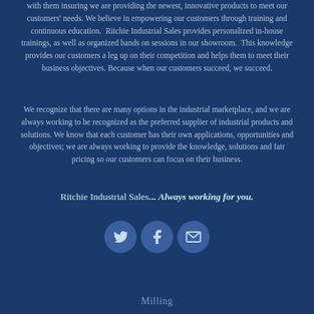with them insuring we are providing the newest, innovative products to meet our customers' needs. We believe in empowering our customers through training and continuous education. Ritchie Industrial Sales provides personalized in-house trainings, as well as organized hands on sessions in our showroom. This knowledge provides our customers a leg up on their competition and helps them to meet their business objectives. Because when our customers succeed, we succeed.
We recognize that there are many options in the industrial marketplace, and we are always working to be recognized as the preferred supplier of industrial products and solutions. We know that each customer has their own applications, opportunities and objectives; we are always working to provide the knowledge, solutions and fair pricing so our customers can focus on their business.
Ritchie Industrial Sales... Always working for you.
[Figure (infographic): Three circular social media/contact icon buttons: Twitter bird icon, Facebook f icon, and envelope/email icon, displayed in a row on a dark blue background.]
Milling